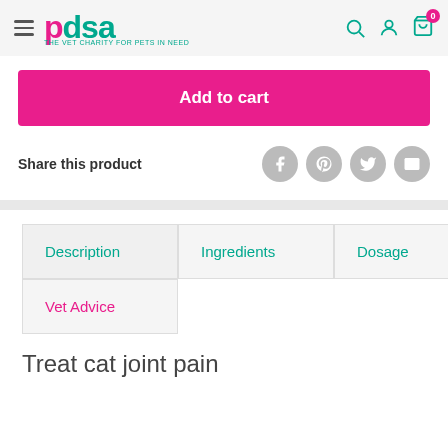pdsa THE VET CHARITY FOR PETS IN NEED
Add to cart
Share this product
Description
Ingredients
Dosage
Vet Advice
Treat cat joint pain